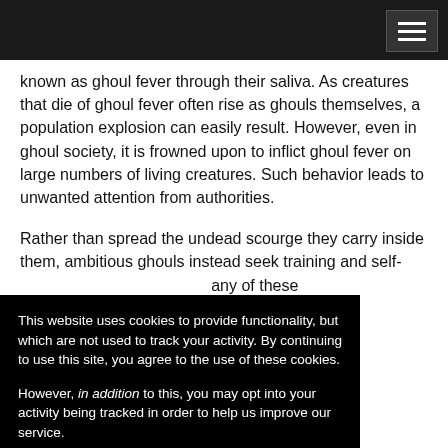known as ghoul fever through their saliva. As creatures that die of ghoul fever often rise as ghouls themselves, a population explosion can easily result. However, even in ghoul society, it is frowned upon to inflict ghoul fever on large numbers of living creatures. Such behavior leads to unwanted attention from authorities.
Rather than spread the undead scourge they carry inside them, ambitious ghouls instead seek training and self- ...any of these ...find that ...s or ...nding of their ...hinery. Ghoul ...r independent as ...llow the ...oul. ...n affect even ...ful stench; these undead usually hold important positions in ghoul society.
This website uses cookies to provide functionality, but which are not used to track your activity. By continuing to use this site, you agree to the use of these cookies.

However, in addition to this, you may opt into your activity being tracked in order to help us improve our service.

For more information, please click here